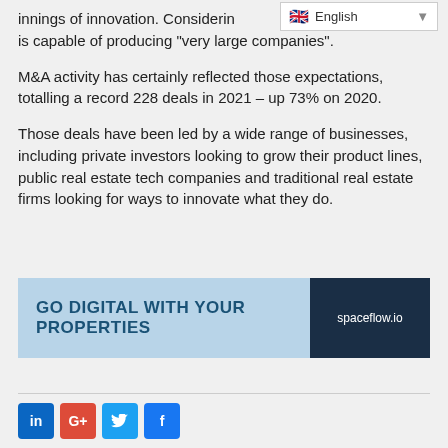innings of innovation. Considering that, KBW added, proptech is capable of producing "very large companies".
M&A activity has certainly reflected those expectations, totalling a record 228 deals in 2021 – up 73% on 2020.
Those deals have been led by a wide range of businesses, including private investors looking to grow their product lines, public real estate tech companies and traditional real estate firms looking for ways to innovate what they do.
[Figure (other): Advertisement banner: GO DIGITAL WITH YOUR PROPERTIES — spaceflow.io]
[Figure (other): Social share buttons: LinkedIn, Google+, Twitter, Facebook]